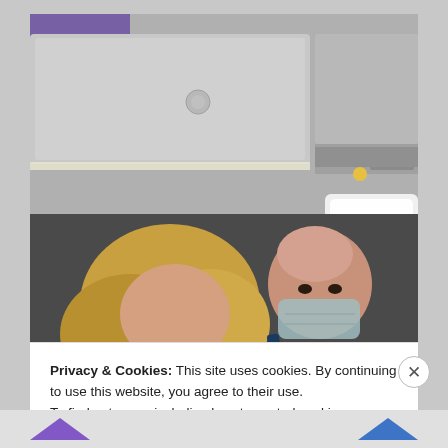[Figure (photo): Interior of an airplane cabin showing overhead bins, an EXIT sign with yellow indicator light, and a bright window/door area. In the foreground are two people: a blonde woman and a bald man wearing a face mask.]
Privacy & Cookies: This site uses cookies. By continuing to use this website, you agree to their use.
To find out more, including how to control cookies, see here: Cookie Policy
Close and accept